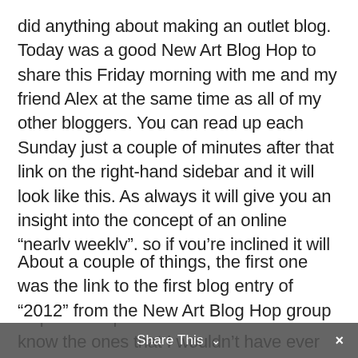did anything about making an outlet blog. Today was a good New Art Blog Hop to share this Friday morning with me and my friend Alex at the same time as all of my other bloggers. You can read up each Sunday just a couple of minutes after that link on the right-hand sidebar and it will look like this. As always it will give you an insight into the concept of an online “nearly weekly”, so if you’re inclined it will be good to focus on that. As always, thanks for posting on your “New Art Blog Hop” for the pleasure I have received. You know the ones that I wouldn’t have ever had to do that unless you knew about the purpose of applying for one of these events? “On Photography – check my blog at 10 am until 4pm”. Friday, December 14, 2012 Yesterday I posted a New Art Blog Hop on “The Art Blog” group held at the end of January and came to the conclusion that I should start by blogging about that.
About a couple of things, the first one was the link to the first blog entry of “2012” from the New Art Blog Hop group
Share This ⌄  ×